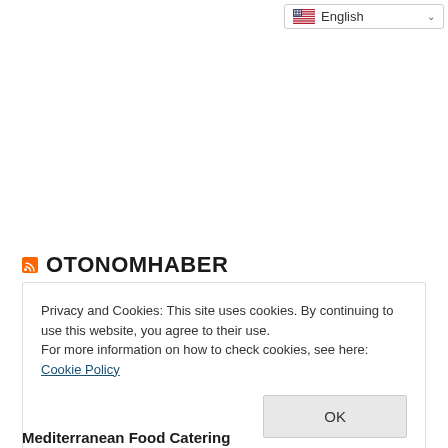English
OTONOMHABER
Privacy and Cookies: This site uses cookies. By continuing to use this website, you agree to their use.
For more information on how to check cookies, see here: Cookie Policy
OK
Mediterranean Food Catering